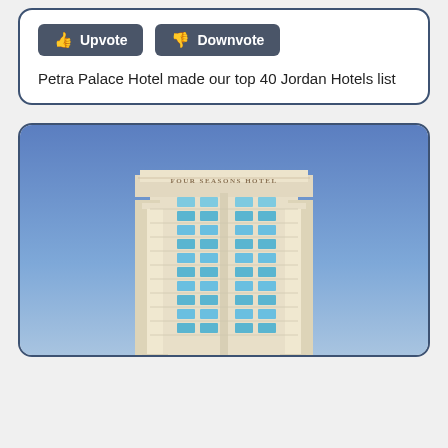Petra Palace Hotel made our top 40 Jordan Hotels list
[Figure (photo): Exterior photo of the Four Seasons Hotel building — a tall, cream/white multi-storey tower with large columns and rows of windows, against a bright blue sky. The hotel name 'FOUR SEASONS HOTEL' is visible on the top parapet.]